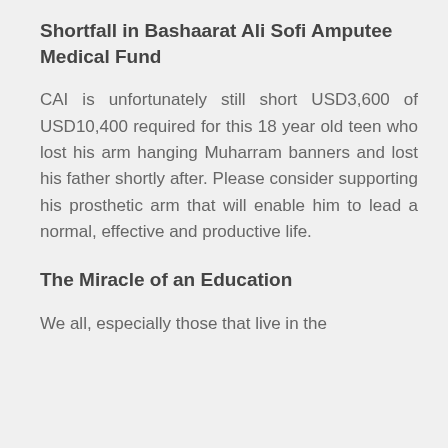Shortfall in Bashaarat Ali Sofi Amputee Medical Fund
CAI is unfortunately still short USD3,600 of USD10,400 required for this 18 year old teen who lost his arm hanging Muharram banners and lost his father shortly after. Please consider supporting his prosthetic arm that will enable him to lead a normal, effective and productive life.
The Miracle of an Education
We all, especially those that live in the